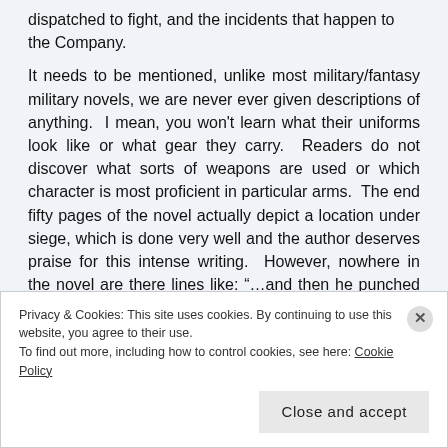dispatched to fight, and the incidents that happen to the Company.
It needs to be mentioned, unlike most military/fantasy military novels, we are never ever given descriptions of anything. I mean, you won't learn what their uniforms look like or what gear they carry. Readers do not discover what sorts of weapons are used or which character is most proficient in particular arms. The end fifty pages of the novel actually depict a location under siege, which is done very well and the author deserves praise for this intense writing. However, nowhere in the novel are there lines like: “…and then he punched him, while swooping his sword arm; but his opponent ducked
Privacy & Cookies: This site uses cookies. By continuing to use this website, you agree to their use. To find out more, including how to control cookies, see here: Cookie Policy
Close and accept